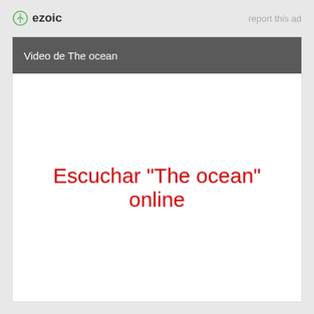ezoic   report this ad
Video de The ocean
Escuchar "The ocean" online